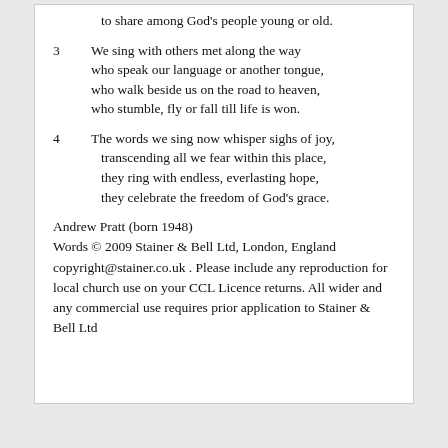to share among God's people young or old.
3   We sing with others met along the way
who speak our language or another tongue,
who walk beside us on the road to heaven,
who stumble, fly or fall till life is won.
4   The words we sing now whisper sighs of joy,
transcending all we fear within this place,
they ring with endless, everlasting hope,
they celebrate the freedom of God's grace.
Andrew Pratt (born 1948)
Words © 2009 Stainer & Bell Ltd, London, England copyright@stainer.co.uk . Please include any reproduction for local church use on your CCL Licence returns. All wider and any commercial use requires prior application to Stainer & Bell Ltd